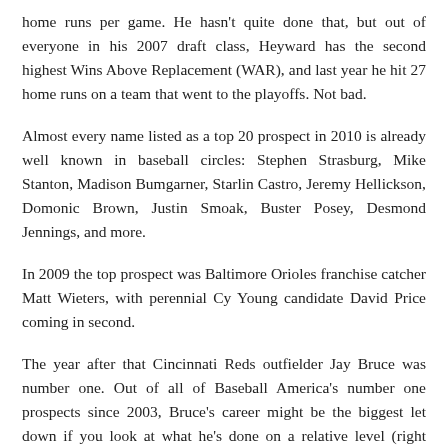home runs per game. He hasn't quite done that, but out of everyone in his 2007 draft class, Heyward has the second highest Wins Above Replacement (WAR), and last year he hit 27 home runs on a team that went to the playoffs. Not bad.
Almost every name listed as a top 20 prospect in 2010 is already well known in baseball circles: Stephen Strasburg, Mike Stanton, Madison Bumgarner, Starlin Castro, Jeremy Hellickson, Domonic Brown, Justin Smoak, Buster Posey, Desmond Jennings, and more.
In 2009 the top prospect was Baltimore Orioles franchise catcher Matt Wieters, with perennial Cy Young candidate David Price coming in second.
The year after that Cincinnati Reds outfielder Jay Bruce was number one. Out of all of Baseball America's number one prospects since 2003, Bruce's career might be the biggest let down if you look at what he's done on a relative level (right behind him was Evan Longoria). But by no means is he a bad player. At the age of 25 Bruce has made two All-Star teams and his power numbers have improved every year since his debut.